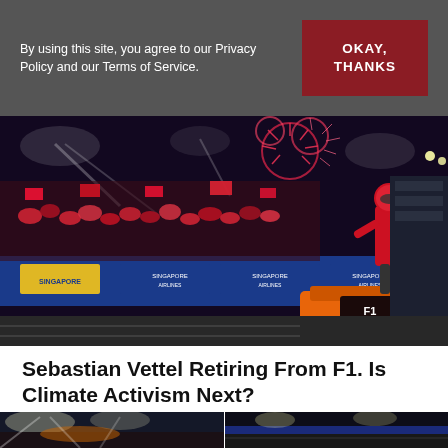By using this site, you agree to our Privacy Policy and our Terms of Service.
OKAY, THANKS
[Figure (photo): Ferrari F1 race winner celebrating on pit lane at Singapore Grand Prix night race, crowd cheering with red flags and fireworks in background, F1 car visible in foreground]
Sebastian Vettel Retiring From F1. Is Climate Activism Next?
Zach Dean  •  1 month ago
[Figure (photo): Two small preview photos at the bottom of the page showing night race scenes]